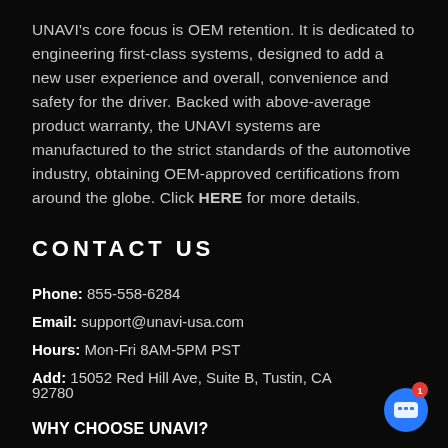UNAVI's core focus is OEM retention. It is dedicated to engineering first-class systems, designed to add a new user experience and overall, convenience and safety for the driver. Backed with above-average product warranty, the UNAVI systems are manufactured to the strict standards of the automotive industry, obtaining OEM-approved certifications from around the globe. Click HERE for more details.
CONTACT US
Phone: 855-558-6284
Email: support@unavi-usa.com
Hours: Mon-Fri 8AM-5PM PST
Add: 15052 Red Hill Ave, Suite B, Tustin, CA 92780
WHY CHOOSE UNAVI?